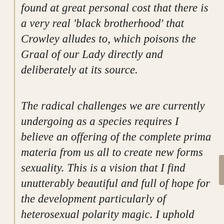found at great personal cost that there is a very real 'black brotherhood' that Crowley alludes to, which poisons the Graal of our Lady directly and deliberately at its source.
The radical challenges we are currently undergoing as a species requires I believe an offering of the complete prima materia from us all to create new forms sexuality. This is a vision that I find unutterably beautiful and full of hope for the development particularly of heterosexual polarity magic. I uphold this as an essential part of the work although can't deny it's often been very hard to keep faith in this. There is a very painful magical archetype sabotaging our collective progress here, a profoundly corrosive, gender schism which